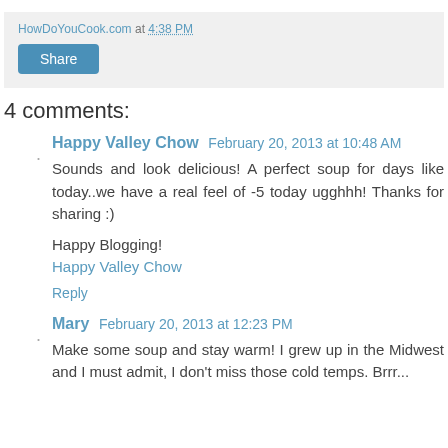HowDoYouCook.com at 4:38 PM
Share
4 comments:
Happy Valley Chow  February 20, 2013 at 10:48 AM
Sounds and look delicious! A perfect soup for days like today..we have a real feel of -5 today ugghhh! Thanks for sharing :)
Happy Blogging!
Happy Valley Chow
Reply
Mary  February 20, 2013 at 12:23 PM
Make some soup and stay warm! I grew up in the Midwest and I must admit, I don't miss those cold temps. Brrr...